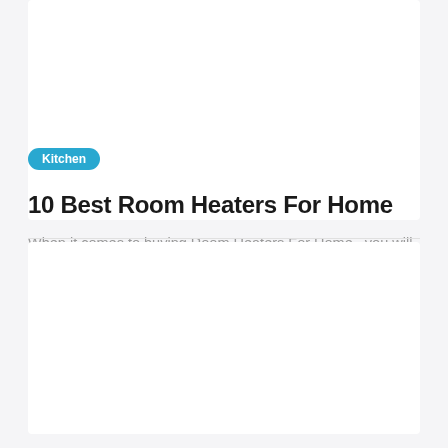Kitchen
10 Best Room Heaters For Home
When it comes to buying Room Heaters For Home , you will find many brands selling the same product. And this will make you confused because you will not know which one of these
21 JUNE 2022